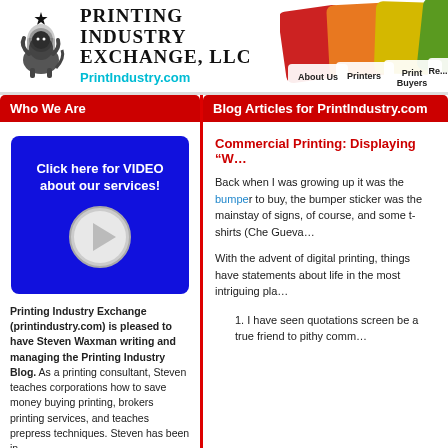[Figure (logo): Printing Industry Exchange LLC lion logo with company name and URL PrintIndustry.com]
[Figure (illustration): Navigation color cards showing About Us, Printers, Print Buyers, Resources tabs]
Who We Are
Blog Articles for PrintIndustry.com
[Figure (screenshot): Blue video box with text Click here for VIDEO about our services and play button]
Printing Industry Exchange (printindustry.com) is pleased to have Steven Waxman writing and managing the Printing Industry Blog. As a printing consultant, Steven teaches corporations how to save money buying printing, brokers printing services, and teaches prepress techniques. Steven has been in
Commercial Printing: Displaying "W...
Back when I was growing up it was the bumper sticker to buy, the bumper sticker was the mainstay of signs, of course, and some t-shirts (Che Gueva...
With the advent of digital printing, things have statements about life in the most intriguing pla...
1. I have seen quotations screen be a true friend to pithy comm...